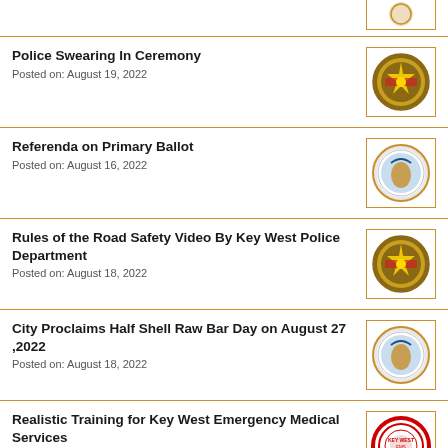Police Swearing In Ceremony
Posted on: August 19, 2022
Referenda on Primary Ballot
Posted on: August 16, 2022
Rules of the Road Safety Video By Key West Police Department
Posted on: August 18, 2022
City Proclaims Half Shell Raw Bar Day on August 27 ,2022
Posted on: August 18, 2022
Realistic Training for Key West Emergency Medical Services
Posted on: August 3, 2022